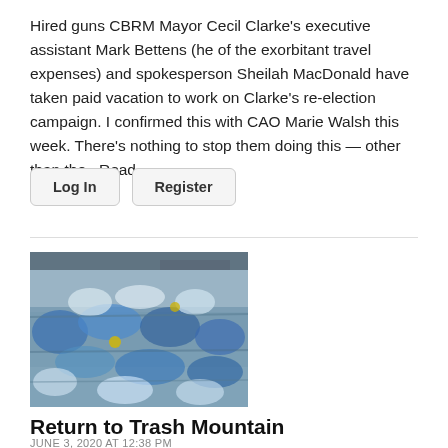Hired guns CBRM Mayor Cecil Clarke's executive assistant Mark Bettens (he of the exorbitant travel expenses) and spokesperson Sheilah MacDonald have taken paid vacation to work on Clarke's re-election campaign. I confirmed this with CAO Marie Walsh this week. There's nothing to stop them doing this — other than the...Read...
Log In
Register
[Figure (photo): Photo of large bales of compressed plastic bags and waste materials, blue and white colored plastic, stacked in a recycling or waste facility.]
Return to Trash Mountain
JUNE 3, 2020 AT 12:38 PM